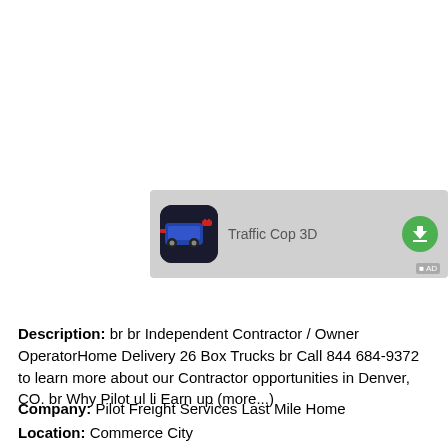[Figure (screenshot): Advertisement banner for Traffic Cop 3D app with app icon, title text, and green download button]
Description: br br Independent Contractor / Owner OperatorHome Delivery 26 Box Trucks br Call 844 684-9372 to learn more about our Contractor opportunities in Denver, CO. br Why Pilot ul li Earn up (more...)
Company: Pilot Freight Services Last Mile Home
Location: Commerce City